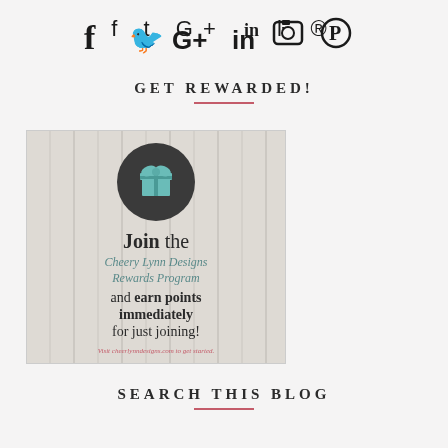[Figure (infographic): Social media icons: Facebook, Twitter, Google+, LinkedIn, Instagram, Pinterest]
GET REWARDED!
[Figure (infographic): Cheery Lynn Designs Rewards Program banner with gift box icon on wood background. Text: Join the Cheery Lynn Designs Rewards Program and earn points immediately for just joining! Visit cheerlynndesigns.com to get started.]
SEARCH THIS BLOG